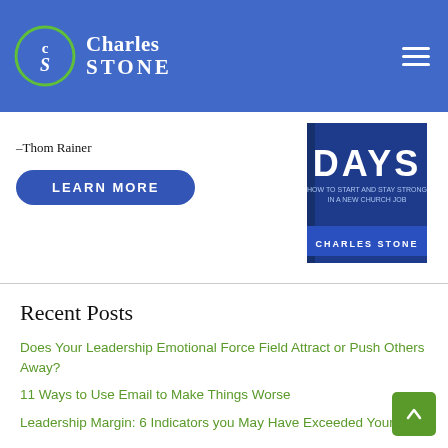Charles STONE
[Figure (screenshot): Book cover: DAYS – How to Start and Stay Strong in a New Church Job by Charles Stone]
–Thom Rainer
LEARN MORE
Recent Posts
Does Your Leadership Emotional Force Field Attract or Push Others Away?
11 Ways to Use Email to Make Things Worse
Leadership Margin: 6 Indicators you May Have Exceeded Yours